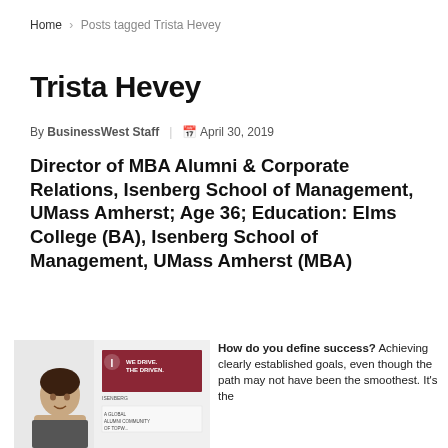Home > Posts tagged Trista Hevey
Trista Hevey
By BusinessWest Staff | April 30, 2019
Director of MBA Alumni & Corporate Relations, Isenberg School of Management, UMass Amherst; Age 36; Education: Elms College (BA), Isenberg School of Management, UMass Amherst (MBA)
[Figure (photo): Photo of Trista Hevey in front of an Isenberg School banner reading 'WE DRIVE. THE DRIVEN.' and 'A GLOBAL ALUMNI COMMUNITY OF TOPW...']
How do you define success? Achieving clearly established goals, even though the path may not have been the smoothest. It's the